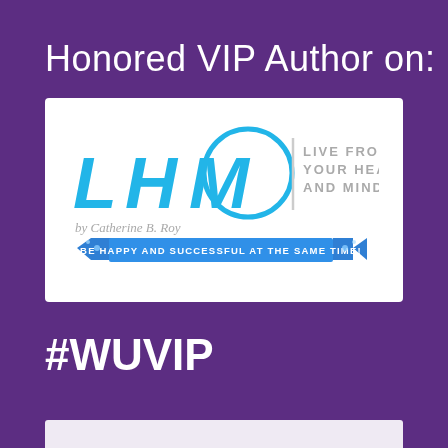Honored VIP Author on:
[Figure (logo): LHM (Live From Your Heart And Mind) logo by Catherine B. Roy, with blue banner reading 'BE HAPPY AND SUCCESSFUL AT THE SAME TIME!']
#WUVIP